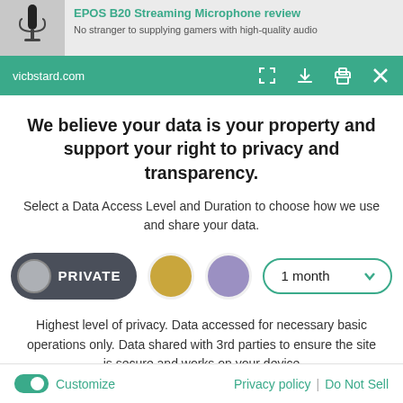EPOS B20 Streaming Microphone review — No stranger to supplying gamers with high-quality audio
vicbstard.com
We believe your data is your property and support your right to privacy and transparency.
Select a Data Access Level and Duration to choose how we use and share your data.
PRIVATE | 1 month
Highest level of privacy. Data accessed for necessary basic operations only. Data shared with 3rd parties to ensure the site is secure and works on your device
Save my preferences
Customize | Privacy policy | Do Not Sell